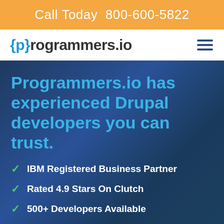Call Today  800-600-5822
{p}rogrammers.io
Programmers.io has experienced Drupal developers you can trust.
IBM Registered Business Partner
Rated 4.9 Stars On Clutch
500+ Developers Available